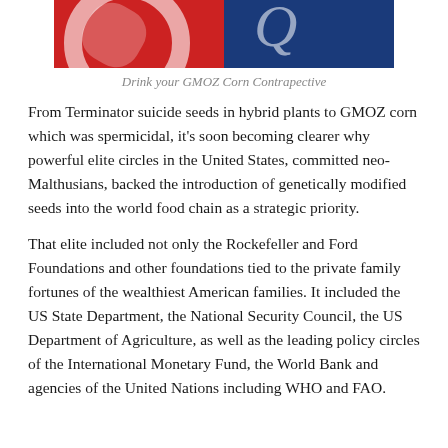[Figure (photo): Partial image showing two halves: left side red background with white swirling design, right side dark blue background with large white letter Q]
Drink your GMOZ Corn Contrapective
From Terminator suicide seeds in hybrid plants to GMOZ corn which was spermicidal, it’s soon becoming clearer why powerful elite circles in the United States, committed neo-Malthusians, backed the introduction of genetically modified seeds into the world food chain as a strategic priority.
That elite included not only the Rockefeller and Ford Foundations and other foundations tied to the private family fortunes of the wealthiest American families. It included the US State Department, the National Security Council, the US Department of Agriculture, as well as the leading policy circles of the International Monetary Fund, the World Bank and agencies of the United Nations including WHO and FAO.